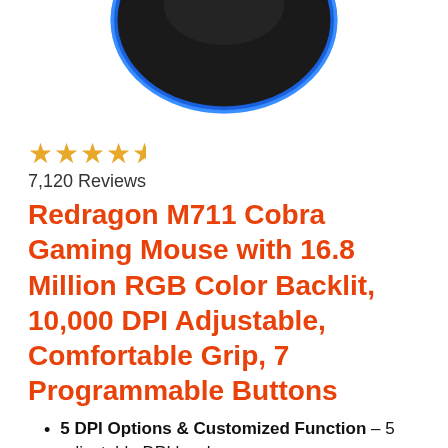[Figure (photo): Top portion of a black gaming mouse with blue LED lighting ring, viewed from above, cropped at bottom of image area]
★★★★½ 7,120 Reviews
Redragon M711 Cobra Gaming Mouse with 16.8 Million RGB Color Backlit, 10,000 DPI Adjustable, Comfortable Grip, 7 Programmable Buttons
5 DPI Options & Customized Function – 5 adjustable DPI levels